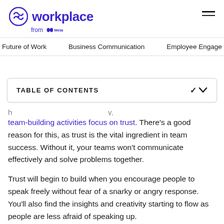Workplace from Meta
Future of Work | Business Communication | Employee Engage
TABLE OF CONTENTS
team-building activities focus on trust. There's a good reason for this, as trust is the vital ingredient in team success. Without it, your teams won't communicate effectively and solve problems together.
Trust will begin to build when you encourage people to speak freely without fear of a snarky or angry response. You'll also find the insights and creativity starting to flow as people are less afraid of speaking up.
And if you're considering an online...